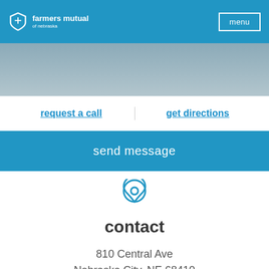farmers mutual of nebraska | menu
[Figure (screenshot): Hero background image showing a desk/laptop scene in muted blue-gray tones]
request a call
get directions
send message
[Figure (illustration): Location pin / map marker icon in blue outline style]
contact
810 Central Ave
Nebraska City, NE 68410
get directions
(402) 873-6501